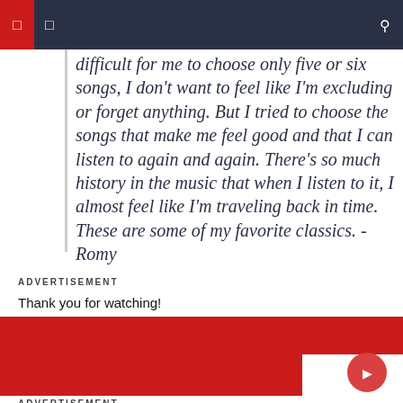difficult for me to choose only five or six songs, I don't want to feel like I'm excluding or forget anything. But I tried to choose the songs that make me feel good and that I can listen to again and again. There's so much history in the music that when I listen to it, I almost feel like I'm traveling back in time. These are some of my favorite classics. -Romy
ADVERTISEMENT
Thank you for watching!
[Figure (other): Red banner advertisement block with white corner and circular button]
ADVERTISEMENT